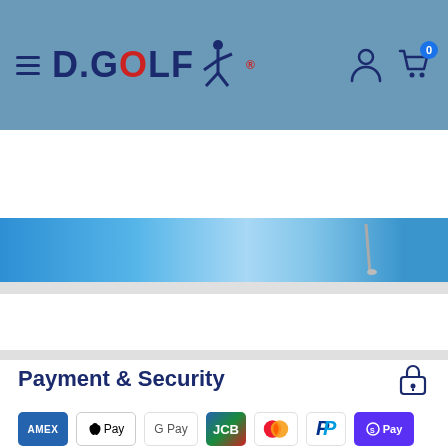[Figure (screenshot): D.GOLF website header with hamburger menu, logo, user and cart icons on blue background]
[Figure (screenshot): Search bar with text field and teal search button]
[Figure (screenshot): Blue banner area with gradient background]
Payment & Security
[Figure (infographic): Payment method icons: American Express, Apple Pay, Google Pay, JCB, Mastercard, PayPal, Shop Pay, Visa]
Your payment information is processed securely. We do not store credit card details nor have access to your credit card